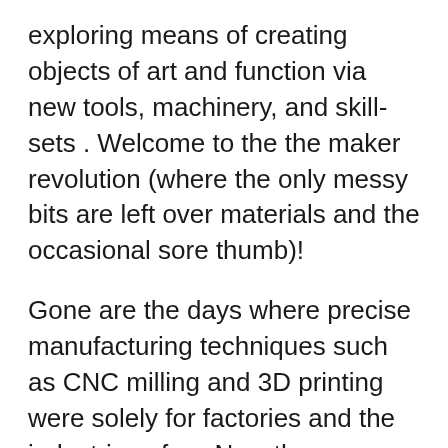exploring means of creating objects of art and function via new tools, machinery, and skill-sets . Welcome to the the maker revolution (where the only messy bits are left over materials and the occasional sore thumb)!
Gone are the days where precise manufacturing techniques such as CNC milling and 3D printing were solely for factories and the industrious few. Now the means to create intricate and precise objects have become smaller and cheaper – and therefore more accessible for everyone.